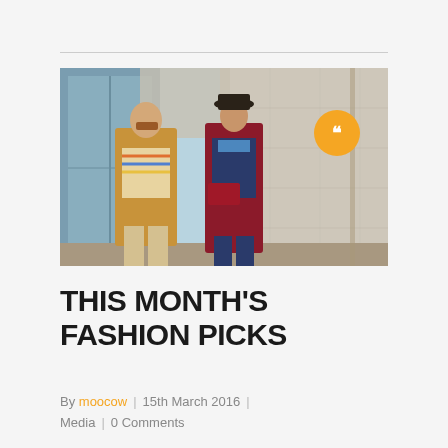[Figure (photo): Two fashionably dressed men standing in front of a large stone building. Left person wears a tan shearling coat and striped sweater. Right person wears a burgundy coat, navy suit, and black fedora hat, holding a red clutch bag. An orange circular badge with a quotation mark icon is overlaid in the upper right of the image.]
THIS MONTH'S FASHION PICKS
By moocow  |  15th March 2016  |  Media  |  0 Comments